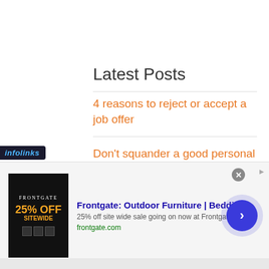Latest Posts
4 reasons to reject or accept a job offer
Don't squander a good personal referral when looking for a job
Liberal arts degree: Asset or albatross?
[Figure (screenshot): Advertisement banner for Frontgate Outdoor Furniture and Bedding with infolinks badge, showing 25% off sitewide promotion with close button and arrow navigation.]